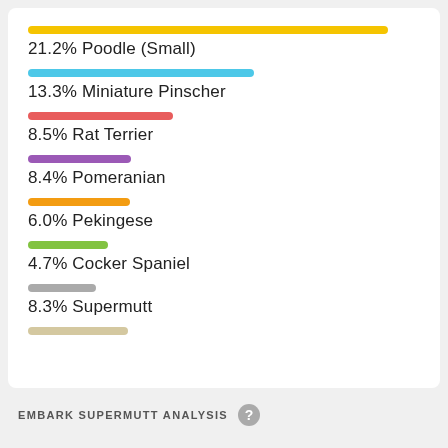[Figure (bar-chart): Dog Breed Composition]
EMBARK SUPERMUTT ANALYSIS